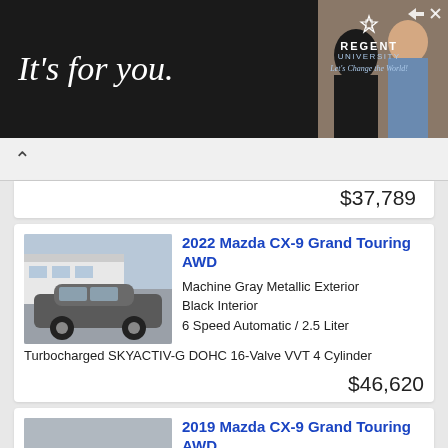[Figure (screenshot): Advertisement banner for Regent University with tagline 'It's for you.' and 'Let's Change the World!' on dark background with people in background]
$37,789
[Figure (photo): 2022 Mazda CX-9 Grand Touring AWD in Machine Gray Metallic at a dealership]
2022 Mazda CX-9 Grand Touring AWD
Machine Gray Metallic Exterior
Black Interior
6 Speed Automatic / 2.5 Liter Turbocharged SKYACTIV-G DOHC 16-Valve VVT 4 Cylinder
$46,620
[Figure (photo): 2019 Mazda CX-9 Grand Touring AWD in Jet Black Mica at a dealership]
2019 Mazda CX-9 Grand Touring AWD
Jet Black Mica Exterior
Black Interior
6 Speed Automatic / 2.5 Liter DI DOHC 16-Valve VVT SKYACVTIV-G 4 Cylinder